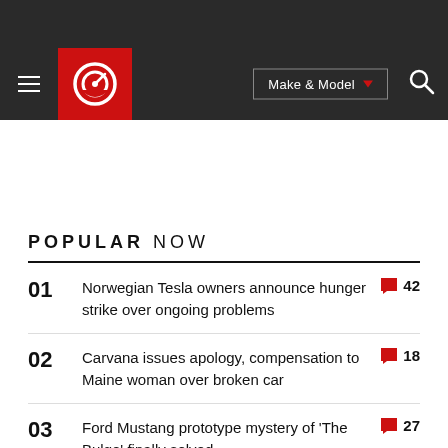Navigation bar with hamburger menu, CarGurus logo, Make & Model dropdown, and search icon
POPULAR NOW
01 Norwegian Tesla owners announce hunger strike over ongoing problems 42
02 Carvana issues apology, compensation to Maine woman over broken car 18
03 Ford Mustang prototype mystery of 'The Bulge' finally solved 27